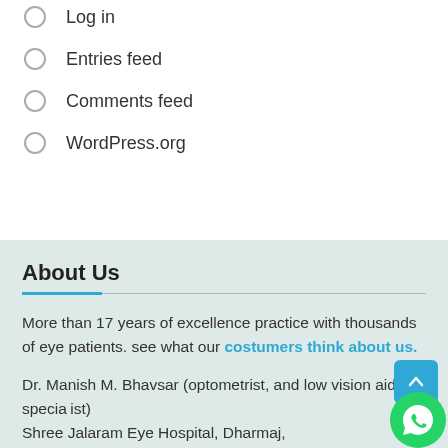Log in
Entries feed
Comments feed
WordPress.org
About Us
More than 17 years of excellence practice with thousands of eye patients. see what our costumers think about us.
Dr. Manish M. Bhavsar (optometrist, and low vision aids specialist) Shree Jalaram Eye Hospital, Dharmaj,